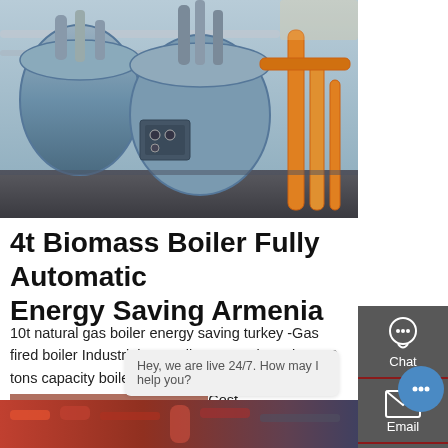[Figure (photo): Industrial boiler/heating system equipment in a factory setting, showing large cylindrical boiler tanks, pipes, and orange handrails]
4t Biomass Boiler Fully Automatic Energy Saving Armenia
10t natural gas boiler energy saving turkey -Gas fired boiler Industrial 10t Fully Automatic Turkey. 10 tons capacity boiler cost - peking-garden-alzenau. boiler 10 ton C Oil Fired Boiler Cost - bertjanlindeman.nl. 30Ton steam boiler. Kefid· 30 tons per hour of
[Figure (screenshot): Sidebar with Chat, Email, and Contact icons on dark gray background]
[Figure (photo): Bottom strip showing industrial pipes and equipment in red/orange tones]
Learn More
Hey, we are live 24/7. How may I help you?